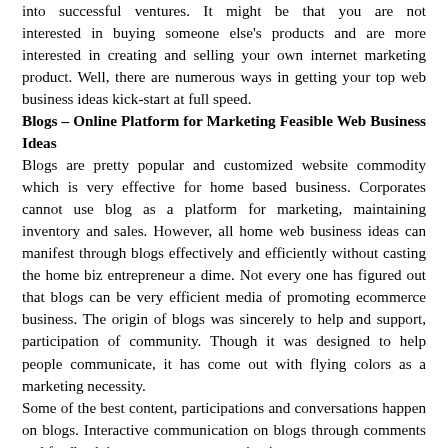into successful ventures. It might be that you are not interested in buying someone else's products and are more interested in creating and selling your own internet marketing product. Well, there are numerous ways in getting your top web business ideas kick-start at full speed.
Blogs – Online Platform for Marketing Feasible Web Business Ideas
Blogs are pretty popular and customized website commodity which is very effective for home based business. Corporates cannot use blog as a platform for marketing, maintaining inventory and sales. However, all home web business ideas can manifest through blogs effectively and efficiently without casting the home biz entrepreneur a dime. Not every one has figured out that blogs can be very efficient media of promoting ecommerce business. The origin of blogs was sincerely to help and support, participation of community. Though it was designed to help people communicate, it has come out with flying colors as a marketing necessity.
Some of the best content, participations and conversations happen on blogs. Interactive communication on blogs through comments and feedback is very common, a motivation to